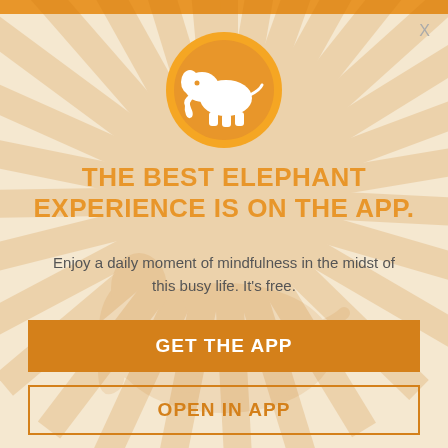[Figure (logo): Orange circle with white elephant silhouette logo]
THE BEST ELEPHANT EXPERIENCE IS ON THE APP.
Enjoy a daily moment of mindfulness in the midst of this busy life. It's free.
GET THE APP
OPEN IN APP